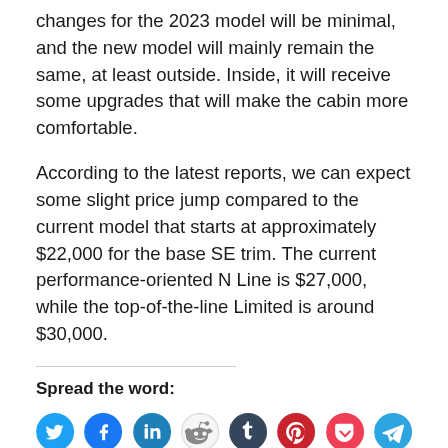changes for the 2023 model will be minimal, and the new model will mainly remain the same, at least outside. Inside, it will receive some upgrades that will make the cabin more comfortable.
According to the latest reports, we can expect some slight price jump compared to the current model that starts at approximately $22,000 for the base SE trim. The current performance-oriented N Line is $27,000, while the top-of-the-line Limited is around $30,000.
Spread the word:
[Figure (infographic): Social media share buttons: Twitter, Facebook, LinkedIn, Reddit, Tumblr, Pinterest, Pocket, Telegram]